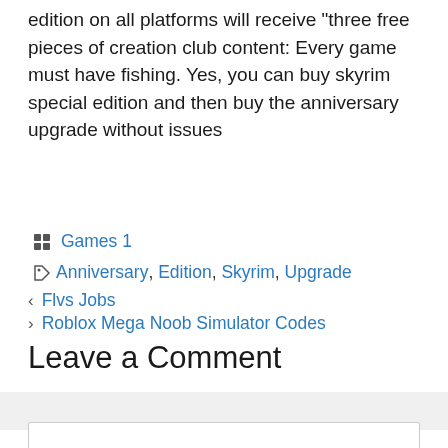edition on all platforms will receive “three free pieces of creation club content: Every game must have fishing. Yes, you can buy skyrim special edition and then buy the anniversary upgrade without issues
Categories: Games 1
Tags: Anniversary, Edition, Skyrim, Upgrade
Previous: Flvs Jobs
Next: Roblox Mega Noob Simulator Codes
Leave a Comment